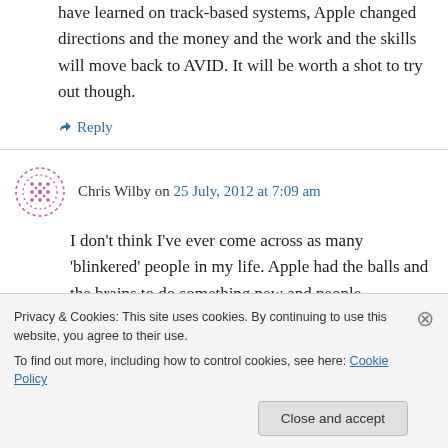have learned on track-based systems, Apple changed directions and the money and the work and the skills will move back to AVID. It will be worth a shot to try out though.
↪ Reply
Chris Wilby on 25 July, 2012 at 7:09 am
I don't think I've ever come across as many 'blinkered' people in my life. Apple had the balls and the brains to do something new and people
Privacy & Cookies: This site uses cookies. By continuing to use this website, you agree to their use.
To find out more, including how to control cookies, see here: Cookie Policy
Close and accept